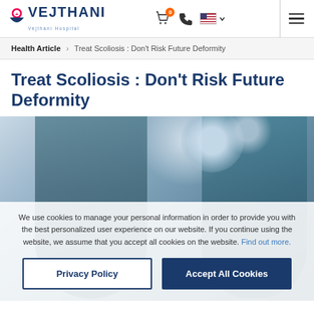Vejthani Hospital — navigation header with logo, cart, phone, language selector, and menu
Health Article › Treat Scoliosis : Don't Risk Future Deformity
Treat Scoliosis : Don't Risk Future Deformity
[Figure (photo): Medical/surgical scene showing surgeons in an operating room with overhead surgical lights]
We use cookies to manage your personal information in order to provide you with the best personalized user experience on our website. If you continue using the website, we assume that you accept all cookies on the website. Find out more.
Privacy Policy | Accept All Cookies